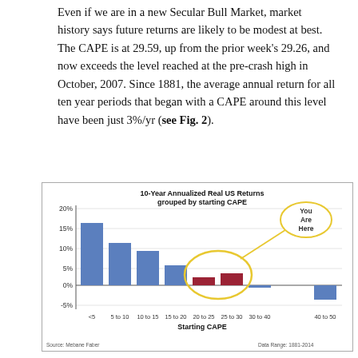Even if we are in a new Secular Bull Market, market history says future returns are likely to be modest at best. The CAPE is at 29.59, up from the prior week's 29.26, and now exceeds the level reached at the pre-crash high in October, 2007. Since 1881, the average annual return for all ten year periods that began with a CAPE around this level have been just 3%/yr (see Fig. 2).
[Figure (bar-chart): 10-Year Annualized Real US Returns grouped by starting CAPE]
Source: Mebane Faber    Data Range: 1881-2014